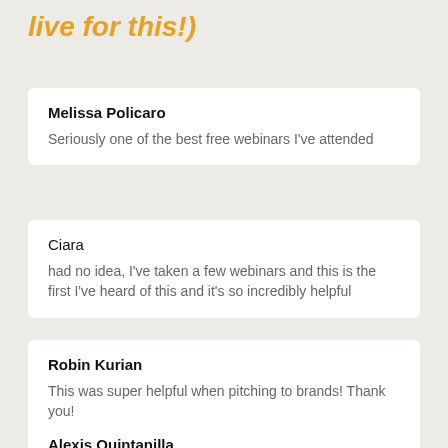live for this!)
Melissa Policaro
Seriously one of the best free webinars I've attended
Ciara
had no idea, I've taken a few webinars and this is the first I've heard of this and it's so incredibly helpful
Robin Kurian
This was super helpful when pitching to brands! Thank you!
Alexis Quintanilla